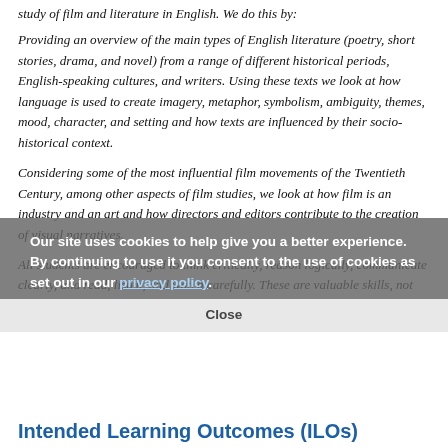study of film and literature in English. We do this by:
Providing an overview of the main types of English literature (poetry, short stories, drama, and novel) from a range of different historical periods, English-speaking cultures, and writers. Using these texts we look at how language is used to create imagery, metaphor, symbolism, ambiguity, themes, mood, character, and setting and how texts are influenced by their socio-historical context.
Considering some of the most influential film movements of the Twentieth Century, among other aspects of film studies, we look at how film is an industry and an art and how directors and editors contribute to the creation of visual narratives.
All students are encouraged to think critically, reason logically, communicate clearly, and read, listen, and watch carefully. These are valuable skills, not only in the study of film and literature, but throughout the academic environment.
Our site uses cookies to help give you a better experience. By continuing to use it you consent to the use of cookies as set out in our privacy policy.
Intended Learning Outcomes (ILOs)